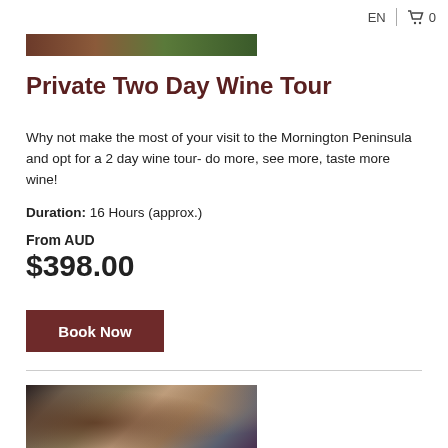EN  0
[Figure (photo): Partial photo of people at a wine event, partially cut off at top]
Private Two Day Wine Tour
Why not make the most of your visit to the Mornington Peninsula and opt for a 2 day wine tour- do more, see more, taste more wine!
Duration: 16 Hours (approx.)
From AUD
$398.00
Book Now
[Figure (photo): Three people tasting wine together at a winery, partially cut off at bottom]